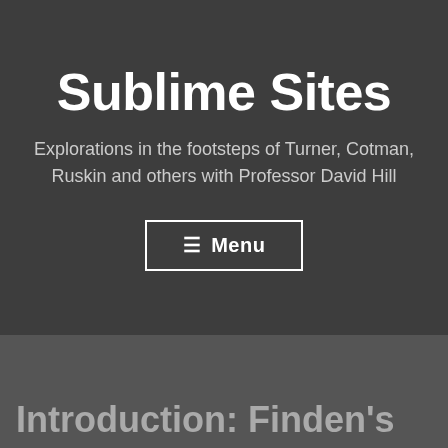Sublime Sites
Explorations in the footsteps of Turner, Cotman, Ruskin and others with Professor David Hill
☰  Menu
Introduction: Finden's